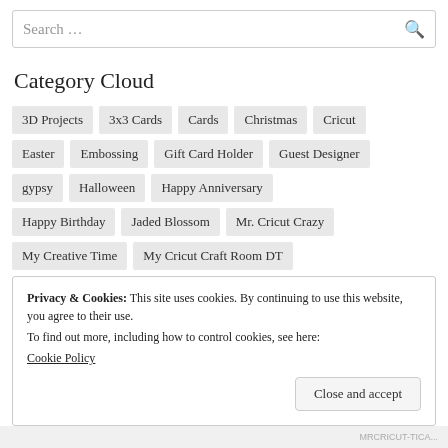Search ...
Category Cloud
3D Projects
3x3 Cards
Cards
Christmas
Cricut
Easter
Embossing
Gift Card Holder
Guest Designer
gypsy
Halloween
Happy Anniversary
Happy Birthday
Jaded Blossom
Mr. Cricut Crazy
My Creative Time
My Cricut Craft Room DT
Privacy & Cookies: This site uses cookies. By continuing to use this website, you agree to their use. To find out more, including how to control cookies, see here: Cookie Policy
Close and accept